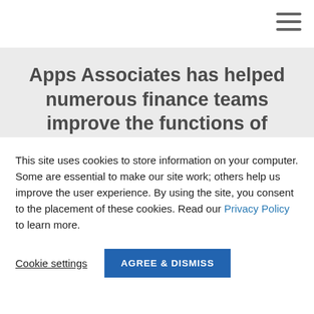[Figure (other): Hamburger menu icon (three horizontal lines) in top right corner]
Apps Associates has helped numerous finance teams improve the functions of financial planning and reporting by implementing and/or upgrading their
This site uses cookies to store information on your computer. Some are essential to make our site work; others help us improve the user experience. By using the site, you consent to the placement of these cookies. Read our Privacy Policy to learn more.
Cookie settings   AGREE & DISMISS